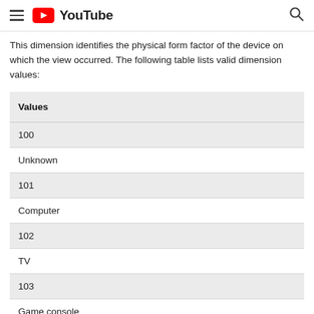YouTube
This dimension identifies the physical form factor of the device on which the view occurred. The following table lists valid dimension values:
| Values |
| --- |
| 100 |
| Unknown |
| 101 |
| Computer |
| 102 |
| TV |
| 103 |
| Game console |